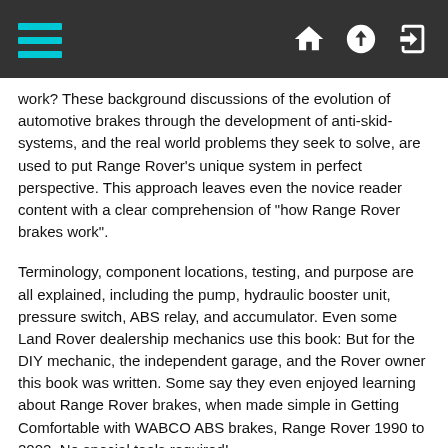[Navigation bar with hamburger menu and icons]
work? These background discussions of the evolution of automotive brakes through the development of anti-skid-systems, and the real world problems they seek to solve, are used to put Range Rover's unique system in perfect perspective. This approach leaves even the novice reader content with a clear comprehension of "how Range Rover brakes work".
Terminology, component locations, testing, and purpose are all explained, including the pump, hydraulic booster unit, pressure switch, ABS relay, and accumulator. Even some Land Rover dealership mechanics use this book: But for the DIY mechanic, the independent garage, and the Rover owner this book was written. Some say they even enjoyed learning about Range Rover brakes, when made simple in Getting Comfortable with WABCO ABS brakes, Range Rover 1990 to 2002. No special tools required!
NOTE: If you have an older edition and would like to upgrade, please login to the site and drop us a note. We'll gladly email a new copy to you for free!!  This edition has complete new testing sections.